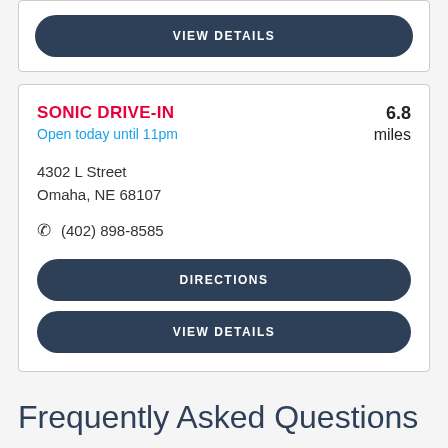[Figure (screenshot): VIEW DETAILS button (dark navy, pill-shaped)]
SONIC DRIVE-IN
Open today until 11pm
4302 L Street
Omaha, NE 68107
(402) 898-8585
6.8 miles
[Figure (screenshot): DIRECTIONS button (dark navy, pill-shaped)]
[Figure (screenshot): VIEW DETAILS button (dark navy, pill-shaped)]
Frequently Asked Questions